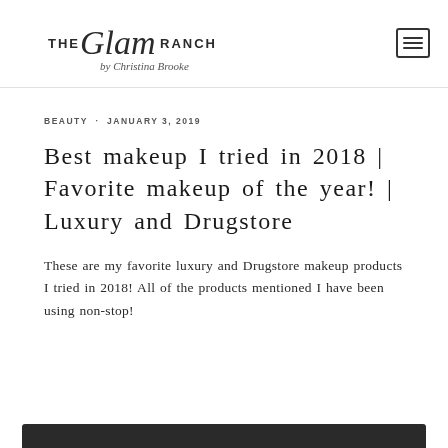THE Glam RANCH by Christina Brooke
BEAUTY · JANUARY 3, 2019
Best makeup I tried in 2018 | Favorite makeup of the year! | Luxury and Drugstore
These are my favorite luxury and Drugstore makeup products I tried in 2018! All of the products mentioned I have been using non-stop!